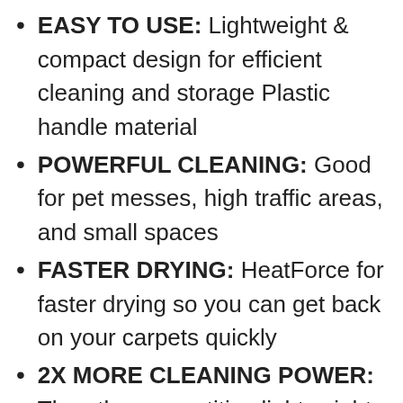EASY TO USE: Lightweight & compact design for efficient cleaning and storage Plastic handle material
POWERFUL CLEANING: Good for pet messes, high traffic areas, and small spaces
FASTER DRYING: HeatForce for faster drying so you can get back on your carpets quickly
2X MORE CLEANING POWER: Than the competitive lightweight carpet cleaner
BONUS TOOL & CLEANING